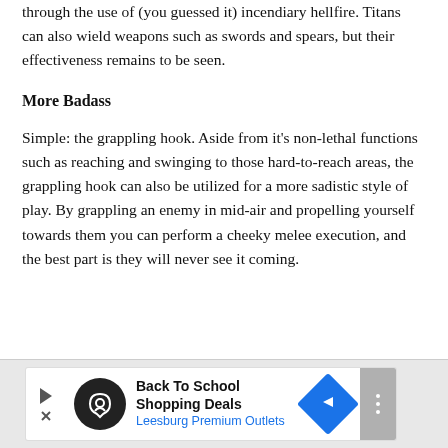through the use of (you guessed it) incendiary hellfire. Titans can also wield weapons such as swords and spears, but their effectiveness remains to be seen.
More Badass
Simple: the grappling hook. Aside from it's non-lethal functions such as reaching and swinging to those hard-to-reach areas, the grappling hook can also be utilized for a more sadistic style of play. By grappling an enemy in mid-air and propelling yourself towards them you can perform a cheeky melee execution, and the best part is they will never see it coming.
[Figure (infographic): Advertisement banner for Back To School Shopping Deals at Leesburg Premium Outlets, featuring a circular logo, play button, navigation arrow, and mute/more button.]